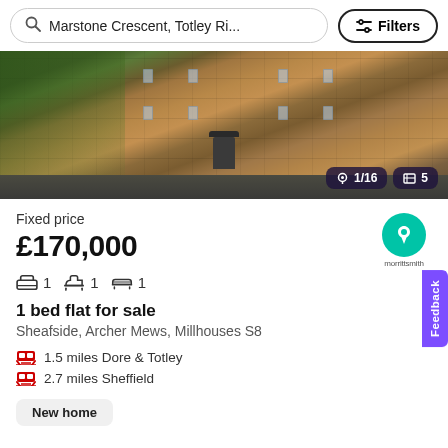Marstone Crescent, Totley Ri...
Filters
[Figure (photo): Exterior photo of a red brick residential apartment building with multiple windows and a central entrance with canopy. Trees and fence visible on left. Overlay shows photo count 1/16 and floor plan count 5.]
Fixed price
£170,000
1  1  1
1 bed flat for sale
Sheafside, Archer Mews, Millhouses S8
1.5 miles Dore & Totley
2.7 miles Sheffield
New home